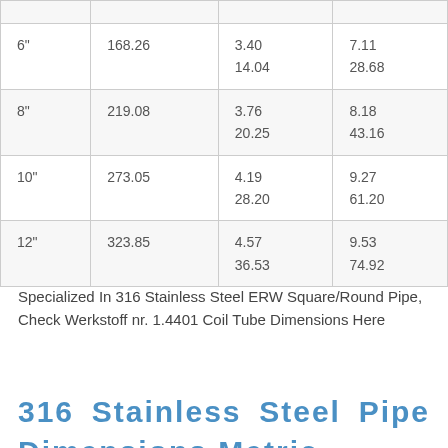|  |  |  |  |
| 6" | 168.26 | 3.40
14.04 | 7.11
28.68 |
| 8" | 219.08 | 3.76
20.25 | 8.18
43.16 |
| 10" | 273.05 | 4.19
28.20 | 9.27
61.20 |
| 12" | 323.85 | 4.57
36.53 | 9.53
74.92 |
Specialized In 316 Stainless Steel ERW Square/Round Pipe, Check Werkstoff nr. 1.4401 Coil Tube Dimensions Here
316    Stainless    Steel    Pipe
Dimensions Metric